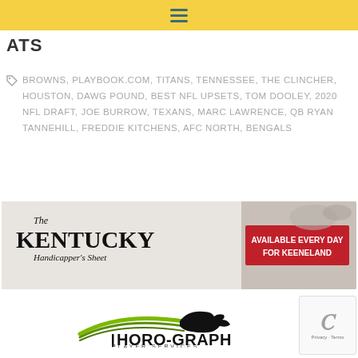≡
ATS
BROWNS, PLAYBOOK.COM, TITANS, TENNESSEE, THE CLINCHER, HOUSTON, DAWG POUND, BEST NFL UPSETS, TOM DOOLEY, 2020 NFL DRAFT, JOE BURROW, TEXANS, MARC LAWRENCE, QB RYAN TANNEHILL, FREDDIE KITCHENS, AFC NORTH, BENGALS
[Figure (illustration): Kentucky Handicapper's Sheet advertisement banner — Available Every Day For Keeneland, with horse racing image]
[Figure (logo): Thoro-Graph Player Services logo with green swoosh lines and horse silhouette]